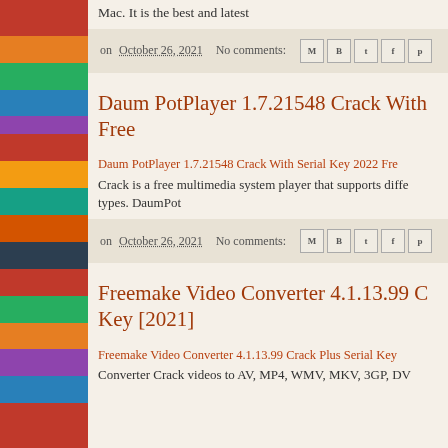Mac. It is the best and latest
on October 26, 2021   No comments:
Daum PotPlayer 1.7.21548 Crack With Free
Daum PotPlayer 1.7.21548 Crack With Serial Key 2022 Fre... Crack is a free multimedia system player that supports diffe... types. DaumPot
on October 26, 2021   No comments:
Freemake Video Converter 4.1.13.99 C... Key [2021]
Freemake Video Converter 4.1.13.99 Crack Plus Serial Key... Converter Crack videos to AV, MP4, WMV, MKV, 3GP, DV...